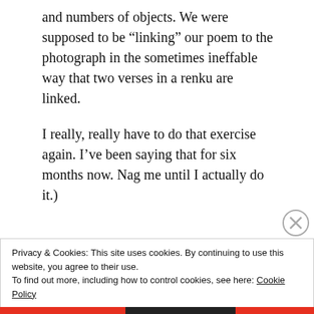and numbers of objects. We were supposed to be “linking” our poem to the photograph in the sometimes ineffable way that two verses in a renku are linked.
I really, really have to do that exercise again. I’ve been saying that for six months now. Nag me until I actually do it.)
[Figure (other): Advertisements label with blue horizontal bar below it, followed by Pressable logo (white P on black square background) and the word Pressable in large text]
[Figure (other): Close/dismiss button (circle with X) in top right corner]
Privacy & Cookies: This site uses cookies. By continuing to use this website, you agree to their use.
To find out more, including how to control cookies, see here: Cookie Policy
Close and accept